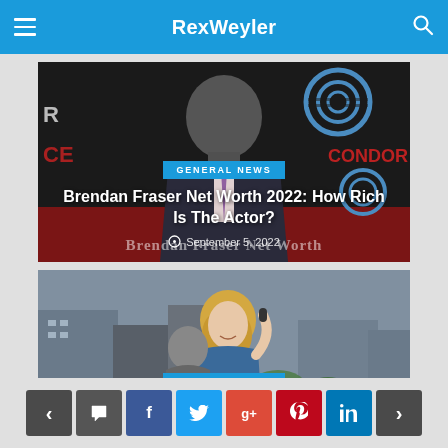RexWeyler
[Figure (photo): Article card image of Brendan Fraser at an event with AT&T/Condor branding in the background. The image has dark tones with red event backdrop elements.]
GENERAL NEWS
Brendan Fraser Net Worth 2022: How Rich Is The Actor?
September 5, 2022
Brendan Fraser Net Worth
[Figure (photo): Article card image of Dylan Dryer outdoors at what appears to be a public rally or event, with buildings in background.]
GENERAL NEWS
Is Dylan Dryer Pregnant?
< comment f t g+ p in >